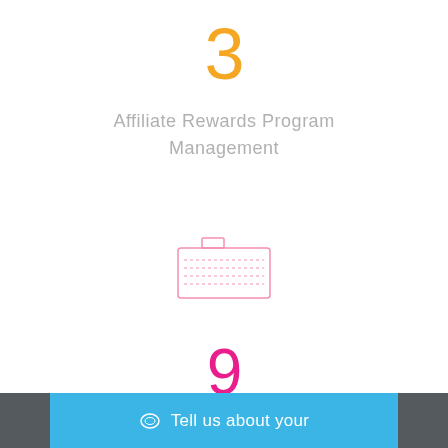3
Affiliate Rewards Program Management
[Figure (illustration): Pink outline icon of a keyboard/banner creation tool]
9
Banner creation
Tell us about your